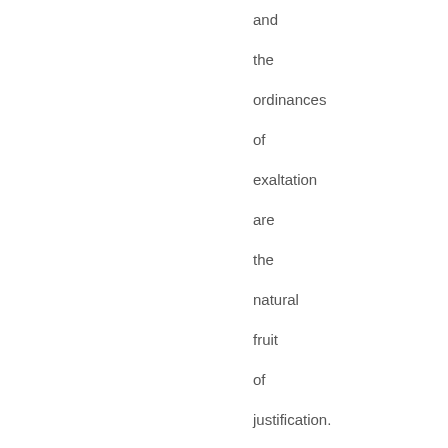and the ordinances of exaltation are the natural fruit of justification. The process of growth in relationship with God through grace is the natural fruit of our